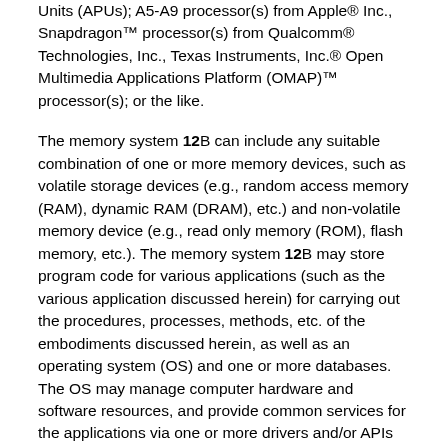Units (APUs); A5-A9 processor(s) from Apple® Inc., Snapdragon™ processor(s) from Qualcomm® Technologies, Inc., Texas Instruments, Inc.® Open Multimedia Applications Platform (OMAP)™ processor(s); or the like.
The memory system 12B can include any suitable combination of one or more memory devices, such as volatile storage devices (e.g., random access memory (RAM), dynamic RAM (DRAM), etc.) and non-volatile memory device (e.g., read only memory (ROM), flash memory, etc.). The memory system 12B may store program code for various applications (such as the various application discussed herein) for carrying out the procedures, processes, methods, etc. of the embodiments discussed herein, as well as an operating system (OS) and one or more databases. The OS may manage computer hardware and software resources, and provide common services for the applications via one or more drivers and/or APIs that provide an interface to hardware devices thereby enabling the OS and applications to access hardware functions. The memory system 12B may also include middleware that may connect two or more separate